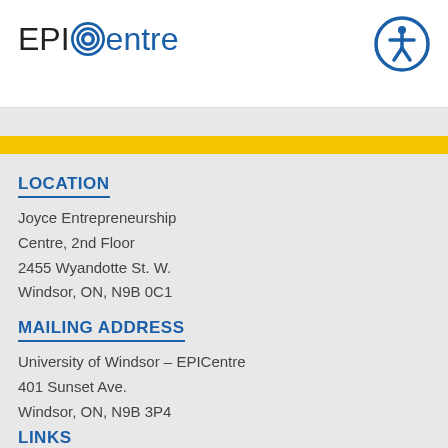[Figure (logo): EPICentre logo with blue circular target icon replacing the C in EPIC, followed by 'entre' in blue]
[Figure (illustration): Accessibility icon: white person figure in a blue circle, top-right corner]
LOCATION
Joyce Entrepreneurship
Centre, 2nd Floor
2455 Wyandotte St. W.
Windsor, ON, N9B 0C1
MAILING ADDRESS
University of Windsor – EPICentre
401 Sunset Ave.
Windsor, ON, N9B 3P4
LINKS